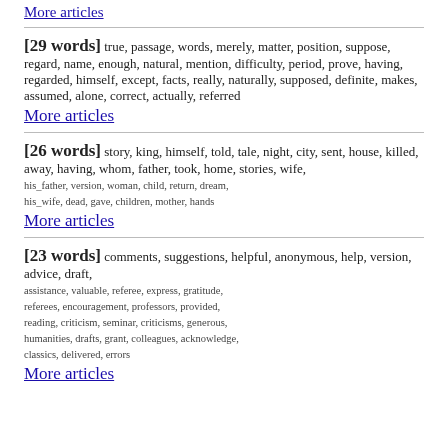More articles (link at top)
[29 words] true, passage, words, merely, matter, position, suppose, regard, name, enough, natural, mention, difficulty, period, prove, having, regarded, himself, except, facts, really, naturally, supposed, definite, makes, assumed, alone, correct, actually, referred
More articles
[26 words] story, king, himself, told, tale, night, city, sent, house, killed, away, having, whom, father, took, home, stories, wife, his_father, version, woman, child, return, dream, his_wife, dead, gave, children, mother, hands
More articles
[23 words] comments, suggestions, helpful, anonymous, help, version, advice, draft, assistance, valuable, referee, express, gratitude, referees, encouragement, professors, provided, reading, criticism, seminar, criticisms, generous, humanities, drafts, grant, colleagues, acknowledge, classics, delivered, errors
More articles (partial, cut off)